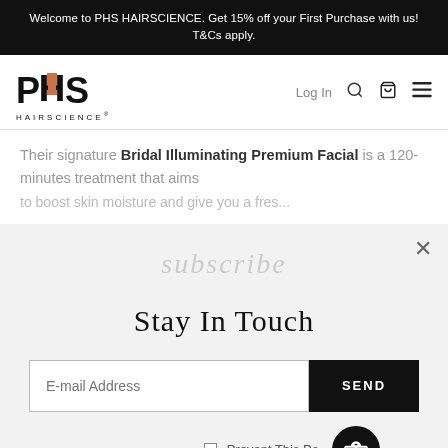Welcome to PHS HAIRSCIENCE. Get 15% off your First Purchase with us! T&Cs apply.
[Figure (logo): PHS HAIRSCIENCE logo with stylized letters and orange accent bar in the H]
Their signature Bridal Illuminating Premium Facial is a 120-minutes treatment that aims to boost skin moisture and give you a fresh...
Stay In Touch
E-mail Address
SEND
Prevent This Po...